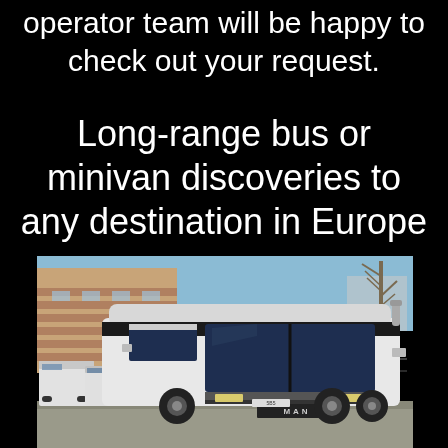operator team will be happy to check out your request.
Long-range bus or minivan discoveries to any destination in Europe
[Figure (photo): A white MAN long-range coach bus parked in a lot, with two smaller white buses visible in the background to the left, a multi-story brick building behind, bare trees to the right, and a clear blue sky.]